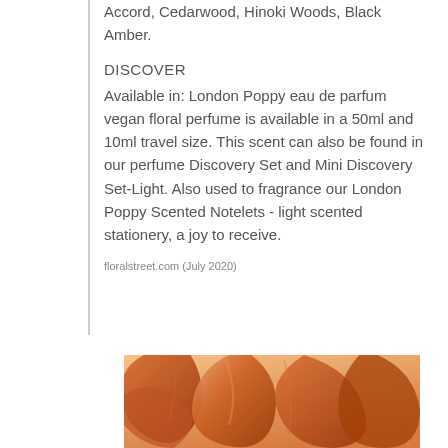Accord, Cedarwood, Hinoki Woods, Black Amber.
DISCOVER
Available in: London Poppy eau de parfum vegan floral perfume is available in a 50ml and 10ml travel size. This scent can also be found in our perfume Discovery Set and Mini Discovery Set-Light. Also used to fragrance our London Poppy Scented Notelets - light scented stationery, a joy to receive.
floralstreet.com (July 2020)
[Figure (photo): Close-up photograph of orange/amber-toned poppy petals with warm lighting]